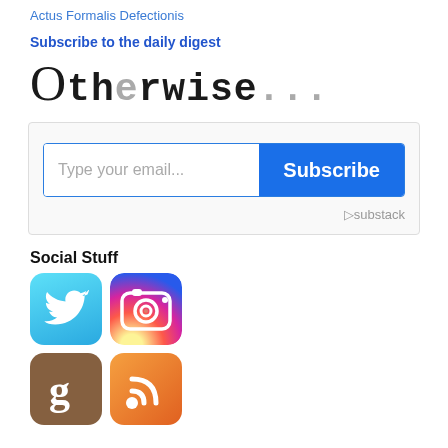Actus Formalis Defectionis
Subscribe to the daily digest
Otherwise...
[Figure (screenshot): Email subscription widget with text input 'Type your email...' and a blue 'Subscribe' button, with Substack logo at bottom right]
Social Stuff
[Figure (infographic): Social media icons: Twitter (blue bird), Instagram (camera), Goodreads (brown G), RSS feed (orange)]